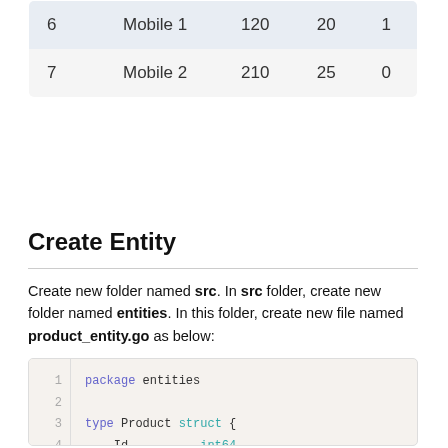| 6 | Mobile 1 | 120 | 20 | 1 |
| 7 | Mobile 2 | 210 | 25 | 0 |
Create Entity
Create new folder named src. In src folder, create new folder named entities. In this folder, create new file named product_entity.go as below:
[Figure (screenshot): Code block showing Go source file with package entities declaration and Product struct definition beginning with Id int64 and Name string fields]